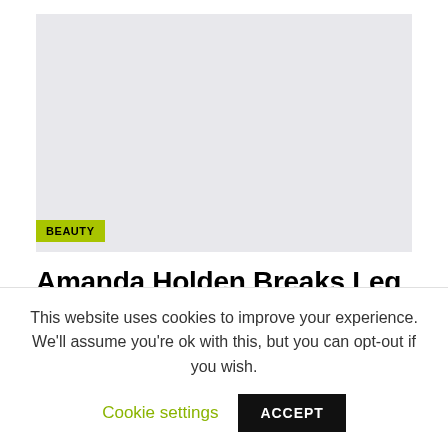[Figure (photo): Light grey placeholder image area for article photo]
BEAUTY
Amanda Holden Breaks Leg In Two Locations On Household Vacation
This website uses cookies to improve your experience. We'll assume you're ok with this, but you can opt-out if you wish.
Cookie settings    ACCEPT